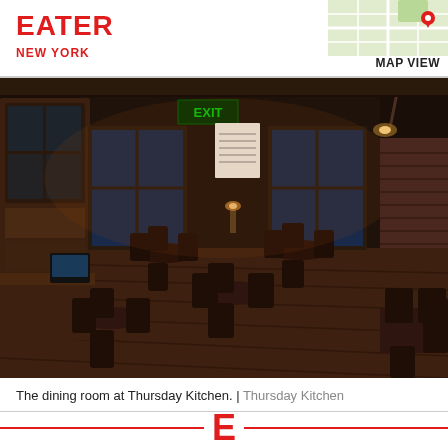EATER NEW YORK
[Figure (photo): Interior dining room of Thursday Kitchen restaurant, showing wooden chairs and tables on hardwood floors, dark walls, EXIT sign, wall sconces, and a display cabinet. Atmospheric, dimly lit ambiance.]
The dining room at Thursday Kitchen.  |  Thursday Kitchen